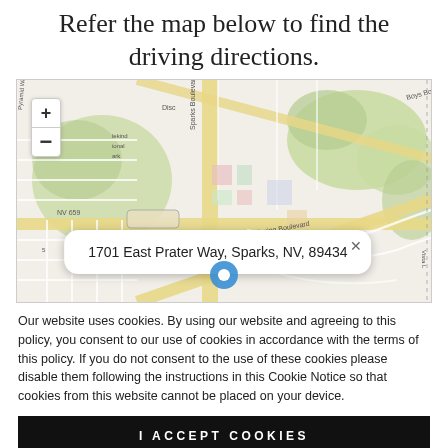Refer the map below to find the driving directions.
[Figure (map): Street map of Sparks, NV area showing Sparks Boulevard, Baring Boulevard, NV 659, Pyramid Way, and surrounding streets. A location pin is placed at 1701 East Prater Way, Sparks, NV, 89434 with a popup callout showing the address.]
Our website uses cookies. By using our website and agreeing to this policy, you consent to our use of cookies in accordance with the terms of this policy. If you do not consent to the use of these cookies please disable them following the instructions in this Cookie Notice so that cookies from this website cannot be placed on your device.
I ACCEPT COOKIES